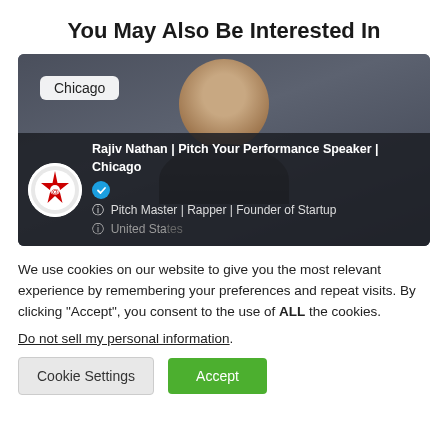You May Also Be Interested In
[Figure (photo): Profile card for Rajiv Nathan showing a photo of a man smiling, with a Chicago location badge, a circular avatar with a star logo, and text: Rajiv Nathan | Pitch Your Performance Speaker | Chicago (verified), Pitch Master | Rapper | Founder of Startup, United States]
We use cookies on our website to give you the most relevant experience by remembering your preferences and repeat visits. By clicking “Accept”, you consent to the use of ALL the cookies.
Do not sell my personal information.
Cookie Settings   Accept